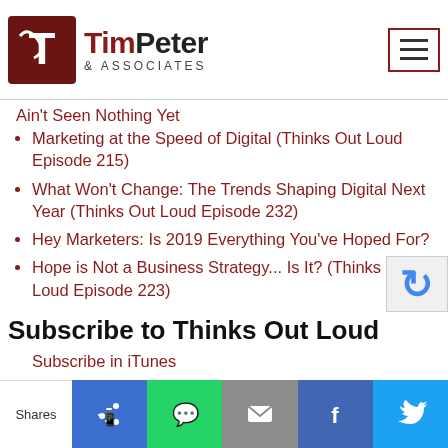Tim Peter & Associates
Ain't Seen Nothing Yet
Marketing at the Speed of Digital (Thinks Out Loud Episode 215)
What Won't Change: The Trends Shaping Digital Next Year (Thinks Out Loud Episode 232)
Hey Marketers: Is 2019 Everything You've Hoped For?
Hope is Not a Business Strategy... Is It? (Thinks Out Loud Episode 223)
Subscribe to Thinks Out Loud
Subscribe in iTunes